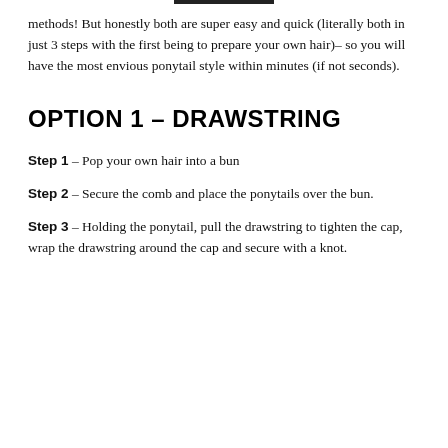methods! But honestly both are super easy and quick (literally both in just 3 steps with the first being to prepare your own hair)– so you will have the most envious ponytail style within minutes (if not seconds).
OPTION 1 – DRAWSTRING
Step 1 – Pop your own hair into a bun
Step 2 – Secure the comb and place the ponytails over the bun.
Step 3 – Holding the ponytail, pull the drawstring to tighten the cap, wrap the drawstring around the cap and secure with a knot.